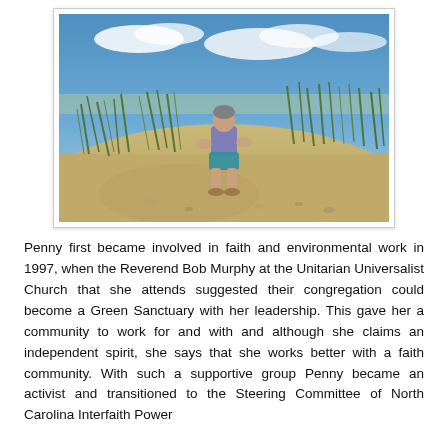[Figure (photo): A woman sitting on a sandy beach dune surrounded by tall beach grass under a blue sky with clouds.]
Penny first became involved in faith and environmental work in 1997, when the Reverend Bob Murphy at the Unitarian Universalist Church that she attends suggested their congregation could become a Green Sanctuary with her leadership. This gave her a community to work for and with and although she claims an independent spirit, she says that she works better with a faith community. With such a supportive group Penny became an activist and transitioned to the Steering Committee of North Carolina Interfaith Power...